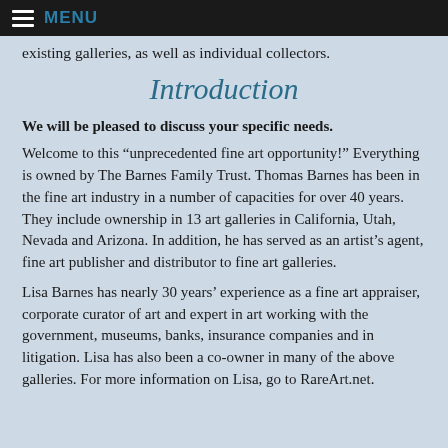MENU
existing galleries, as well as individual collectors.
Introduction
We will be pleased to discuss your specific needs.
Welcome to this “unprecedented fine art opportunity!” Everything is owned by The Barnes Family Trust. Thomas Barnes has been in the fine art industry in a number of capacities for over 40 years. They include ownership in 13 art galleries in California, Utah, Nevada and Arizona. In addition, he has served as an artist’s agent, fine art publisher and distributor to fine art galleries.
Lisa Barnes has nearly 30 years’ experience as a fine art appraiser, corporate curator of art and expert in art working with the government, museums, banks, insurance companies and in litigation. Lisa has also been a co-owner in many of the above galleries. For more information on Lisa, go to RareArt.net.